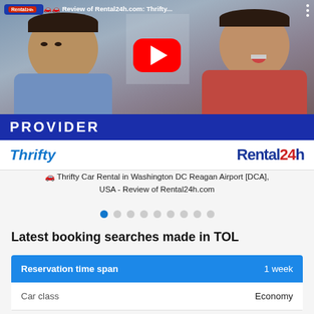[Figure (screenshot): YouTube video thumbnail showing two young men in a car with a red YouTube play button overlay, PROVIDER bar at bottom, Rental24h logo top-left. Title: 🚗 Review of Rental24h.com: Thrifty...]
[Figure (logo): Thrifty car rental logo (blue italic) and Rental24h logo side by side on white bar]
🚗 Thrifty Car Rental in Washington DC Reagan Airport [DCA], USA - Review of Rental24h.com
[Figure (other): Carousel pagination dots, first dot active (blue), 9 dots total]
Latest booking searches made in TOL
| Reservation time span | 1 week |
| --- | --- |
| Car class | Economy |